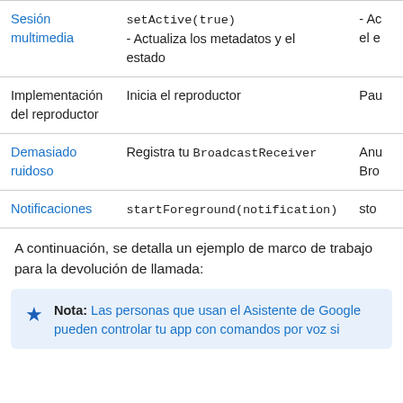|  |  |  |
| --- | --- | --- |
| Sesión multimedia | setActive(true)
- Actualiza los metadatos y el estado | - Ac
el e |
| Implementación del reproductor | Inicia el reproductor | Pau |
| Demasiado ruidoso | Registra tu BroadcastReceiver | Anu
Bro |
| Notificaciones | startForeground(notification) | sto |
A continuación, se detalla un ejemplo de marco de trabajo para la devolución de llamada:
Nota: Las personas que usan el Asistente de Google pueden controlar tu app con comandos por voz si